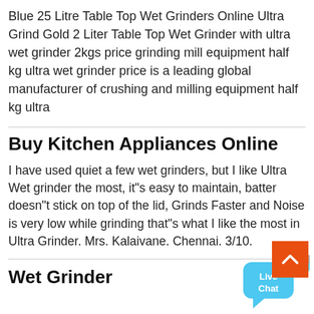Blue 25 Litre Table Top Wet Grinders Online Ultra Grind Gold 2 Liter Table Top Wet Grinder with ultra wet grinder 2kgs price grinding mill equipment half kg ultra wet grinder price is a leading global manufacturer of crushing and milling equipment half kg ultra
Buy Kitchen Appliances Online
I have used quiet a few wet grinders, but I like Ultra Wet grinder the most, it"s easy to maintain, batter doesn"t stick on top of the lid, Grinds Faster and Noise is very low while grinding that"s what I like the most in Ultra Grinder. Mrs. Kalaivane. Chennai. 3/10.
Wet Grinder